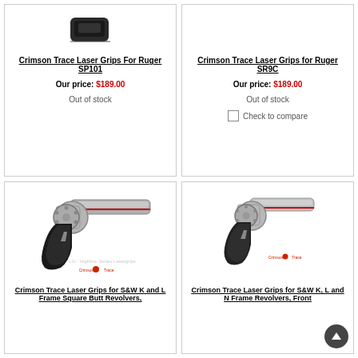[Figure (photo): Small dark grip/laser product image for Ruger SP101]
Crimson Trace Laser Grips For Ruger SP101
Our price: $189.00
Out of stock
[Figure (photo): Product image area for Ruger SR9C (no image shown)]
Crimson Trace Laser Grips for Ruger SR9C
Our price: $189.00
Out of stock
Check to compare
[Figure (photo): Photo of a stainless revolver (S&W K/L Frame) with Crimson Trace laser grips and Crimson Trace branding]
Crimson Trace Laser Grips for S&W K and L Frame Square Butt Revolvers,
[Figure (photo): Photo of a stainless revolver (S&W K/L/N Frame) with Crimson Trace laser grips]
Crimson Trace Laser Grips for S&W K, L and N Frame Revolvers, Front